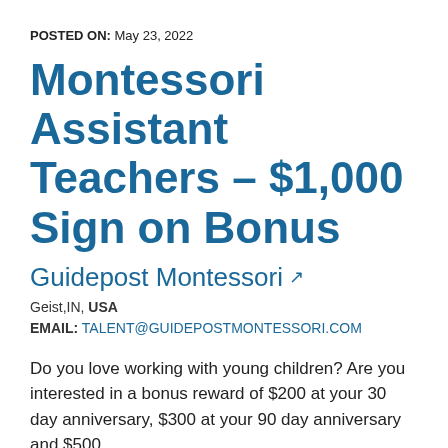POSTED ON: May 23, 2022
Montessori Assistant Teachers – $1,000 Sign on Bonus
Guidepost Montessori ↗
Geist,IN, USA
EMAIL: TALENT@GUIDEPOSTMONTESSORI.COM
Do you love working with young children? Are you interested in a bonus reward of $200 at your 30 day anniversary, $300 at your 90 day anniversary and $500